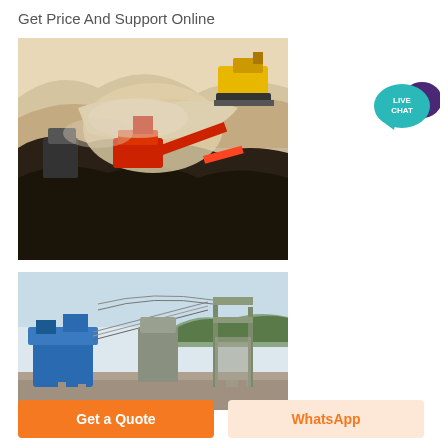Get Price And Support Online
[Figure (photo): Aerial view of mining/quarry operation with red crushing equipment and excavator on rocky terrain]
[Figure (photo): Industrial stone crushing plant with blue machinery, conveyor belts and support structures in outdoor setting]
[Figure (illustration): Live Chat button - teal speech bubble with LIVE CHAT text and dark purple decorative bubble]
Get a Quote
WhatsApp